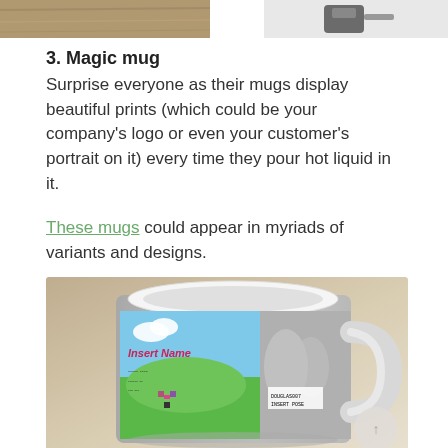[Figure (photo): Top partial photo strip: left shows a wooden surface (partial), right shows a dark metallic object on white background.]
3. Magic mug
Surprise everyone as their mugs display beautiful prints (which could be your company's logo or even your customer's portrait on it) every time they pour hot liquid in it.
These mugs could appear in myriads of variants and designs.
[Figure (photo): Photo of a custom magic mug with colorful pixel-art landscape design on one side and grey silhouette on the other, showing a handle and barcode label.]